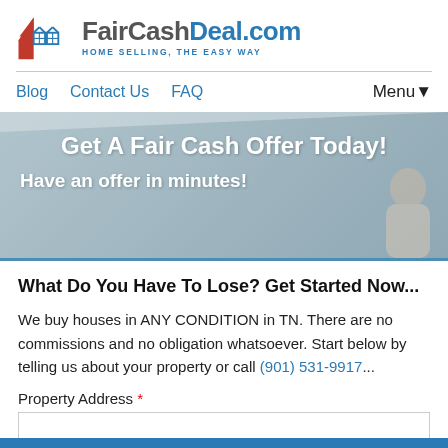[Figure (logo): FairCashDeal.com logo with red house icon and tagline HOME SELLING, THE EASY WAY]
Blog   Contact Us   FAQ   Menu▼
Get A Fair Cash Offer Today!
Have an offer in minutes!
What Do You Have To Lose? Get Started Now...
We buy houses in ANY CONDITION in TN. There are no commissions and no obligation whatsoever. Start below by telling us about your property or call (901) 531-9917...
Property Address *